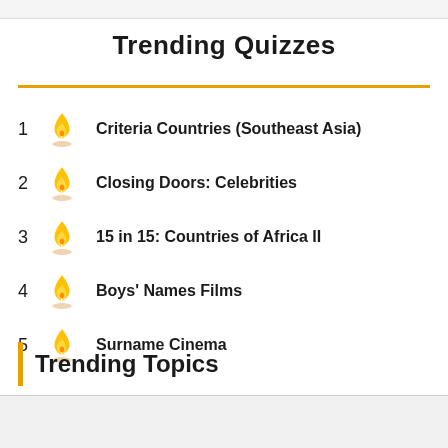Trending Quizzes
1 Criteria Countries (Southeast Asia)
2 Closing Doors: Celebrities
3 15 in 15: Countries of Africa II
4 Boys' Names Films
5 Surname Cinema
Trending Topics